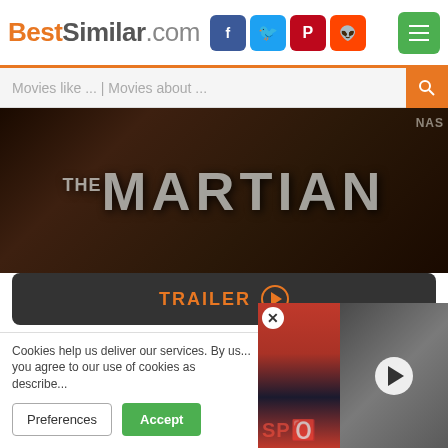BestSimilar.com
Movies like ... | Movies about ...
[Figure (screenshot): The Martian movie banner with dark background and large title text]
TRAILER ▶
Genre: Adventure, Drama, Sci-Fi
Country: USA, UK, Hungary, Jordan
Duration: 144 min.
+ Watchlist
Story: During a manned mission to Mars, Astronaut Mark Watney is presumed dead after a severe storm and left behind by his crew. But Watney has surv...
Cookies help us deliver our services. By us... you agree to our use of cookies as describe...
Preferences
Accept